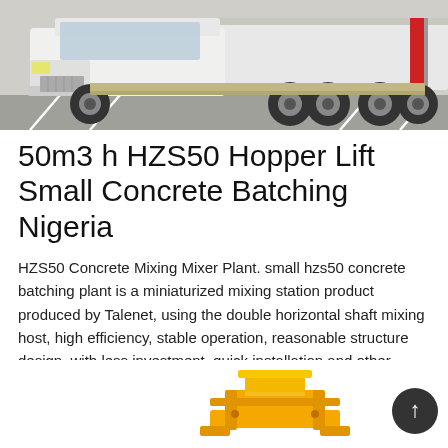[Figure (photo): Front view of a white heavy-duty truck/concrete mixer truck parked on a paved surface, showing the front cab and wheels.]
50m3 h HZS50 Hopper Lift Small Concrete Batching Nigeria
HZS50 Concrete Mixing Mixer Plant. small hzs50 concrete batching plant is a miniaturized mixing station product produced by Talenet, using the double horizontal shaft mixing host, high efficiency, stable operation, reasonable structure design, with less investment, quick installation and other special advantages, is the bridge site, component companies ideal model selection, is worth choosing
Learn More
[Figure (photo): Partial view of yellow construction/concrete batching equipment at the bottom of the page.]